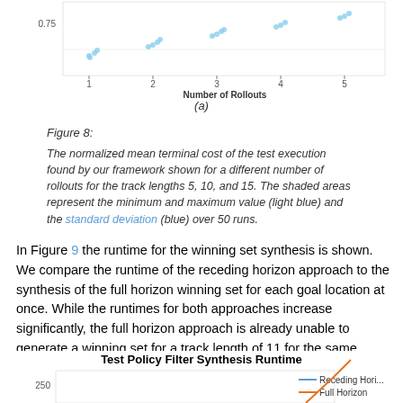[Figure (continuous-plot): Partial scatter/dot plot showing normalized mean terminal cost vs Number of Rollouts (x-axis 1-5), y-axis shows value around 0.75, light blue dots forming upward trend]
(a)
Figure 8:
The normalized mean terminal cost of the test execution found by our framework shown for a different number of rollouts for the track lengths 5, 10, and 15. The shaded areas represent the minimum and maximum value (light blue) and the standard deviation (blue) over 50 runs.
In Figure 9 the runtime for the winning set synthesis is shown. We compare the runtime of the receding horizon approach to the synthesis of the full horizon winning set for each goal location at once. While the runtimes for both approaches increase significantly, the full horizon approach is already unable to generate a winning set for a track length of 11 for the same specifications.
[Figure (line-chart): Partial line chart showing Test Policy Filter Synthesis Runtime with y-axis starting at 250, legend showing Receding Horizon (blue line) and Full Horizon (orange line). Orange line rising steeply visible at bottom right.]